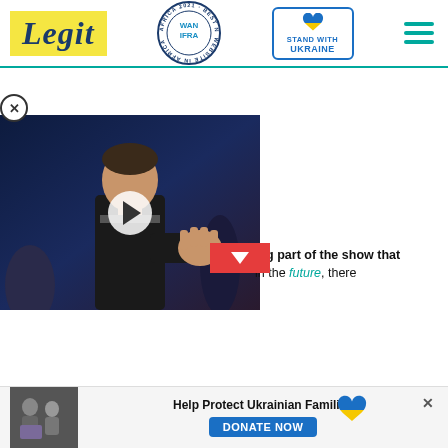[Figure (logo): Legit.ng logo with yellow background and dark blue italic text, WAN-IFRA Best News Website in Africa 2021 badge, Stand With Ukraine button with heart, and hamburger menu icon]
[Figure (photo): Video thumbnail showing a young man (Tom Holland) at what appears to be a movie premiere or event, with a play button overlay and a red minimize/down-arrow button]
big part of the show that in the future, there
[Figure (photo): Donation banner with photo of Ukrainian family, text 'Help Protect Ukrainian Families', blue DONATE NOW button, Ukraine heart flag icon, and close X button]